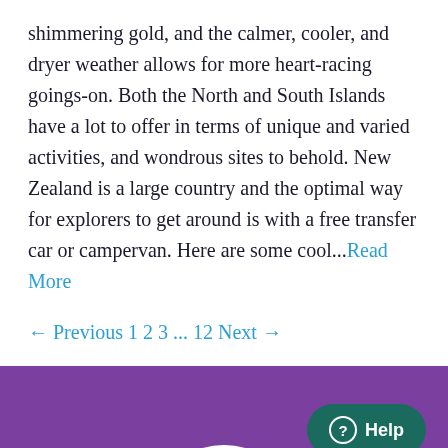shimmering gold, and the calmer, cooler, and dryer weather allows for more heart-racing goings-on. Both the North and South Islands have a lot to offer in terms of unique and varied activities, and wondrous sites to behold. New Zealand is a large country and the optimal way for explorers to get around is with a free transfer car or campervan. Here are some cool...Read More
← Previous 1 2 3 ... 12 Next →